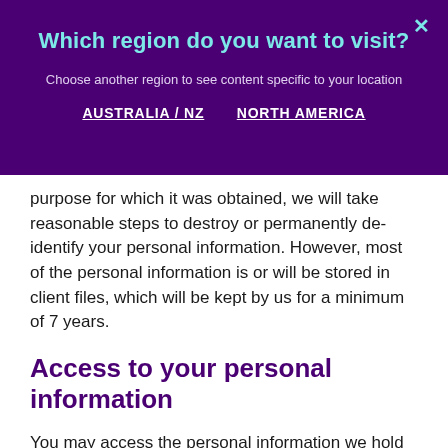Which region do you want to visit?
Choose another region to see content specific to your location
AUSTRALIA / NZ   NORTH AMERICA
purpose for which it was obtained, we will take reasonable steps to destroy or permanently de-identify your personal information. However, most of the personal information is or will be stored in client files, which will be kept by us for a minimum of 7 years.
Access to your personal information
You may access the personal information we hold about you and to update and/or correct it, subject to certain exceptions. If you wish to access your personal information, please contact us in writing.